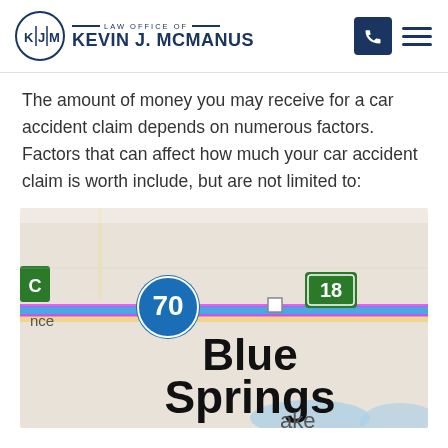LAW OFFICE OF KEVIN J. MCMANUS
The amount of money you may receive for a car accident claim depends on numerous factors. Factors that can affect how much your car accident claim is worth include, but are not limited to:
[Figure (photo): A close-up photograph of a road map showing Blue Springs, Missouri area with Interstate 70 and Route 18 highway markers visible.]